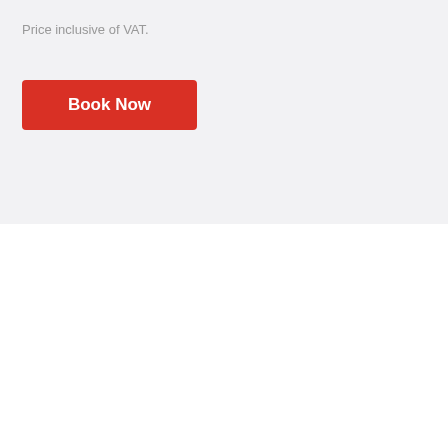Price inclusive of VAT.
Book Now
[Figure (illustration): Speedometer gauge icon with red needle pointing to the right, small tick marks around the dial, dark circle housing]
Top Speed
260 KM/H